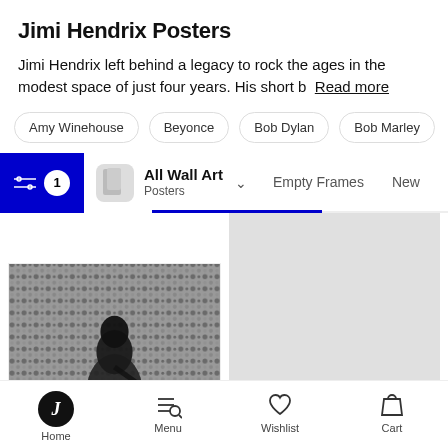Jimi Hendrix Posters
Jimi Hendrix left behind a legacy to rock the ages in the modest space of just four years. His short b Read more
Amy Winehouse
Beyonce
Bob Dylan
Bob Marley
All Wall Art Posters
Empty Frames  New  Best
[Figure (photo): Black and white photo of Jimi Hendrix performing on stage with a guitar]
[Figure (photo): Light grey placeholder rectangle for a second product image]
Home  Menu  Wishlist  Cart